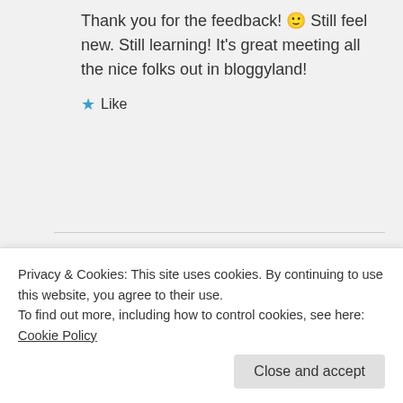Thank you for the feedback! 🙂 Still feel new. Still learning! It's great meeting all the nice folks out in bloggyland!
★ Like
Patti Clark on June 18, 2013 at 10:31 pm
Privacy & Cookies: This site uses cookies. By continuing to use this website, you agree to their use.
To find out more, including how to control cookies, see here: Cookie Policy
Close and accept